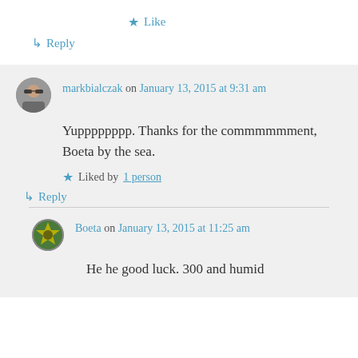★ Like
↳ Reply
markbialczak on January 13, 2015 at 9:31 am
Yupppppppp. Thanks for the commmmmment, Boeta by the sea.
★ Liked by 1 person
↳ Reply
Boeta on January 13, 2015 at 11:25 am
He he good luck. 300 and humid